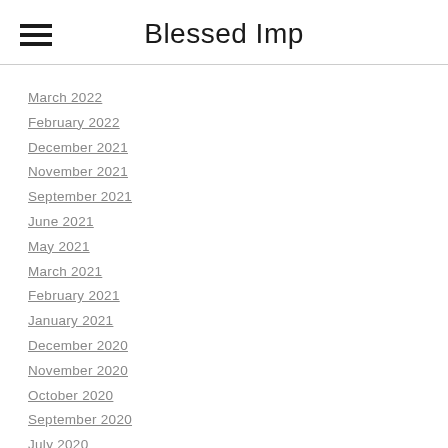Blessed Imp
March 2022
February 2022
December 2021
November 2021
September 2021
June 2021
May 2021
March 2021
February 2021
January 2021
December 2020
November 2020
October 2020
September 2020
July 2020
June 2020
May 2020
April 2020